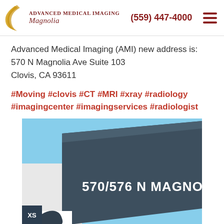Advanced Medical Imaging Magnolia | (559) 447-4000
Advanced Medical Imaging (AMI) new address is:
570 N Magnolia Ave Suite 103
Clovis, CA 93611
#Moving #clovis #CT #MRI #xray #radiology #imagingcenter #imagingservices #radiologist
[Figure (photo): Exterior photo of the building at 570/576 N Magnolia, showing a dark grey modern building facade with bold white lettering reading '570/576 N MAGNOLIA' against a clear blue sky.]